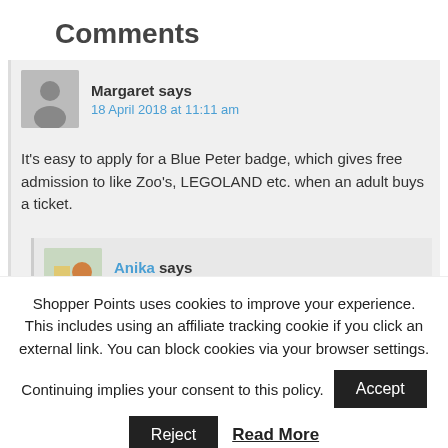Comments
Margaret says
18 April 2018 at 11:11 am
It's easy to apply for a Blue Peter badge, which gives free admission to like Zoo's, LEGOLAND etc. when an adult buys a ticket.
Anika says
18 April 2018 at 11:42 am
I wasn't aware of this. Thank you, I'll look into it.
Shopper Points uses cookies to improve your experience. This includes using an affiliate tracking cookie if you click an external link. You can block cookies via your browser settings.
Continuing implies your consent to this policy.
Reject  Read More